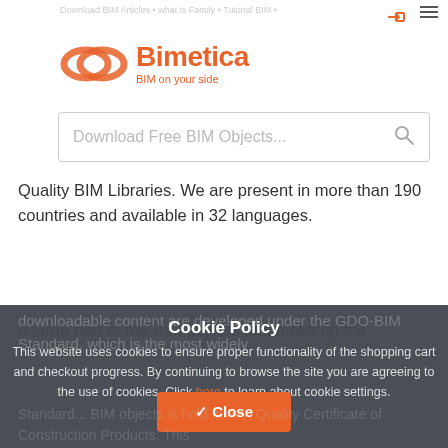Bimetica — BIM on your side
[Figure (logo): Bimetica logo with orange interlocking rings and orange text reading 'Bimetica' with tagline 'BIM on your side']
Download Free BIM Objects...
Quality BIM Libraries. We are present in more than 190 countries and available in 32 languages.
A large part of the BIM objects that make up the downloadable content are developed under the GDO-BIM Standard, which is the most widely
Cookie Policy
This website uses cookies to ensure proper functionality of the shopping cart and checkout progress. By continuing to browse the site you are agreeing to the use of cookies. Click here to learn about cookie settings.
Standard... BIM objects is hold in A+A Quality Certificate of Construction Products. This